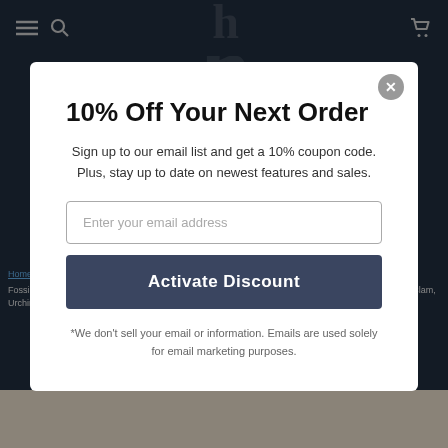[Figure (screenshot): Website navigation bar with hamburger menu, search icon, hbarsci logo, and cart icon on dark navy background]
10% Off Your Next Order
Sign up to our email list and get a 10% coupon code. Plus, stay up to date on newest features and sales.
Enter your email address
Activate Discount
*We don't sell your email or information. Emails are used solely for email marketing purposes.